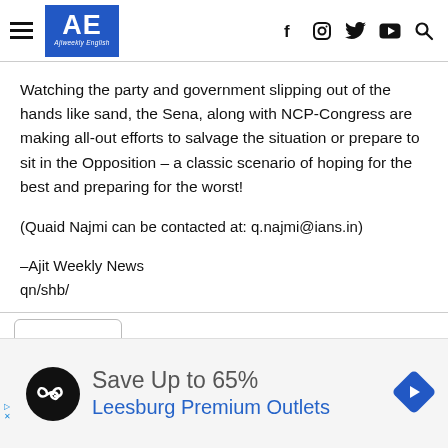AE Ajiweekly English — navigation header with social icons
Watching the party and government slipping out of the hands like sand, the Sena, along with NCP-Congress are making all-out efforts to salvage the situation or prepare to sit in the Opposition – a classic scenario of hoping for the best and preparing for the worst!
(Quaid Najmi can be contacted at: q.najmi@ians.in)
–Ajit Weekly News
qn/shb/
[Figure (screenshot): Advertisement banner: Save Up to 65% Leesburg Premium Outlets with logo and arrow icon]